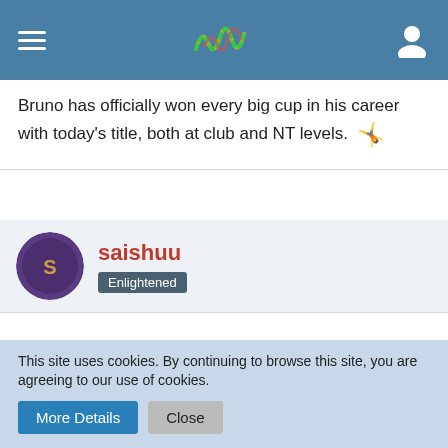[Figure (screenshot): Navigation bar with hamburger menu, stylized wave logo, and user icon on blue background]
Bruno has officially won every big cup in his career with today's title, both at club and NT levels. 🤸
saishuu — Enlightened
Dec 8th 2019 👍+1
S: Bruno
OPP: Evandro
OHs: Juantorena, Conte
MBs: Volvich, Simon
L: Balaso
This site uses cookies. By continuing to browse this site, you are agreeing to our use of cookies.